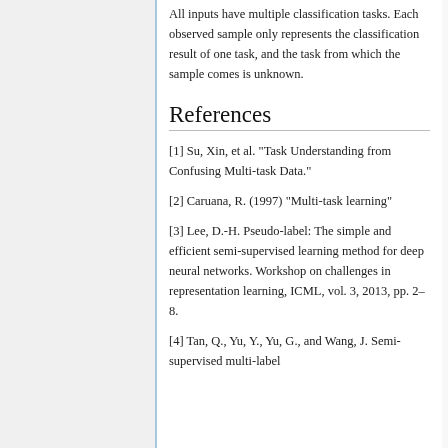All inputs have multiple classification tasks. Each observed sample only represents the classification result of one task, and the task from which the sample comes is unknown.
References
[1] Su, Xin, et al. "Task Understanding from Confusing Multi-task Data."
[2] Caruana, R. (1997) "Multi-task learning"
[3] Lee, D.-H. Pseudo-label: The simple and efficient semi-supervised learning method for deep neural networks. Workshop on challenges in representation learning, ICML, vol. 3, 2013, pp. 2–8.
[4] Tan, Q., Yu, Y., Yu, G., and Wang, J. Semi-supervised multi-label